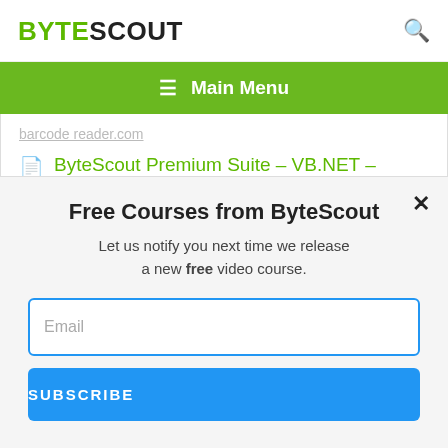BYTESCOUT
≡  Main Menu
barcode reader.com
ByteScout Premium Suite – VB.NET – Decode damaged code 128 barcode with
This website uses cookies. Cookies are used to personalize content, analyze traffic, provide social media features, display ads. We also share
Free Courses from ByteScout
Let us notify you next time we release a new free video course.
Email
SUBSCRIBE